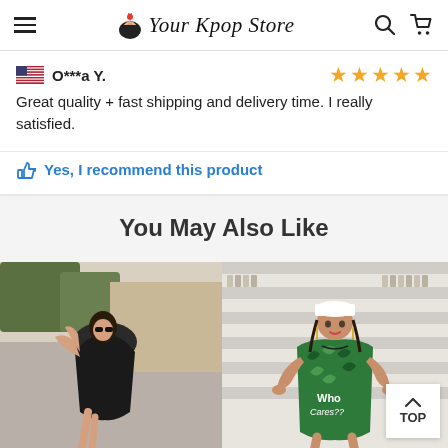Your Kpop Store
O***a Y.
Great quality + fast shipping and delivery time. I really satisfied.
Yes, I recommend this product
You May Also Like
[Figure (photo): Woman wearing a dark polka dot dress outdoors]
[Figure (photo): Woman wearing a green tropical print t-shirt and white cap]